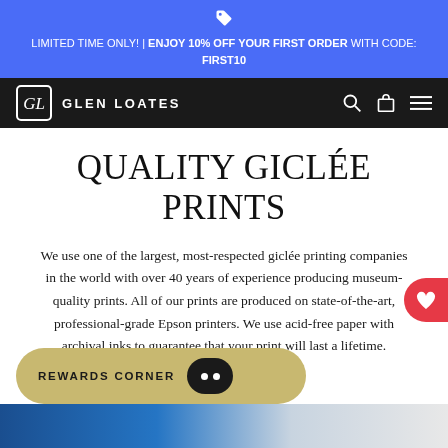LIMITED TIME ONLY! | ENJOY 10% OFF YOUR FIRST ORDER WITH CODE: FIRST10
GLEN LOATES
QUALITY GICLÉE PRINTS
We use one of the largest, most-respected giclée printing companies in the world with over 40 years of experience producing museum-quality prints. All of our prints are produced on state-of-the-art, professional-grade Epson printers. We use acid-free paper with archival inks to guarantee that your print will last a lifetime.
REWARDS CORNER